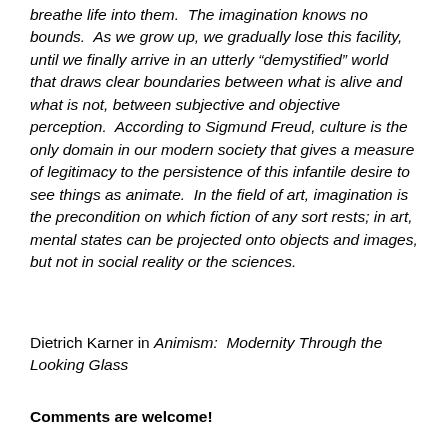breathe life into them.  The imagination knows no bounds.  As we grow up, we gradually lose this facility, until we finally arrive in an utterly “demystified” world that draws clear boundaries between what is alive and what is not, between subjective and objective perception.  According to Sigmund Freud, culture is the only domain in our modern society that gives a measure of legitimacy to the persistence of this infantile desire to see things as animate.  In the field of art, imagination is the precondition on which fiction of any sort rests; in art, mental states can be projected onto objects and images, but not in social reality or the sciences.
Dietrich Karner in Animism:  Modernity Through the Looking Glass
Comments are welcome!